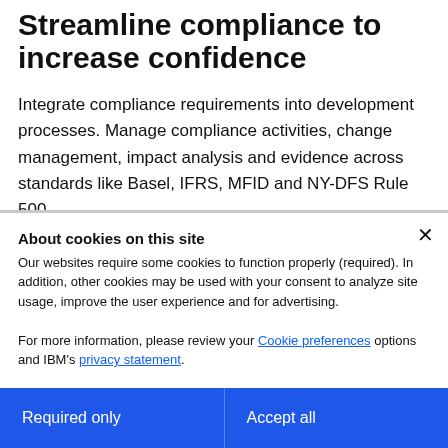Streamline compliance to increase confidence
Integrate compliance requirements into development processes. Manage compliance activities, change management, impact analysis and evidence across standards like Basel, IFRS, MFID and NY-DFS Rule 500.
About cookies on this site
Our websites require some cookies to function properly (required). In addition, other cookies may be used with your consent to analyze site usage, improve the user experience and for advertising.

For more information, please review your Cookie preferences options and IBM's privacy statement.